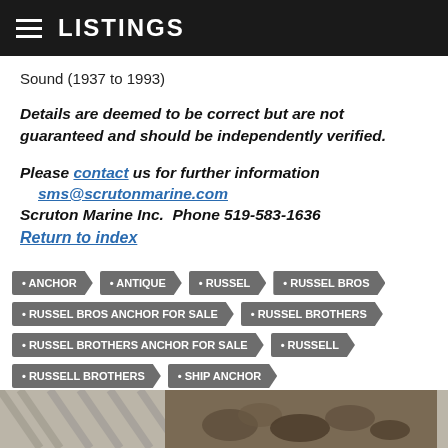LISTINGS
Sound (1937 to 1993)
Details are deemed to be correct but are not guaranteed and should be independently verified.
Please contact us for further information
sms@scrutonmarine.com
Scruton Marine Inc.  Phone 519-583-1636
Return to index
ANCHOR
ANTIQUE
RUSSEL
RUSSEL BROS
RUSSEL BROS ANCHOR FOR SALE
RUSSEL BROTHERS
RUSSEL BROTHERS ANCHOR FOR SALE
RUSSELL
RUSSELL BROTHERS
SHIP ANCHOR
[Figure (photo): Photo of a ship anchor or marine equipment, partially visible at bottom of page]